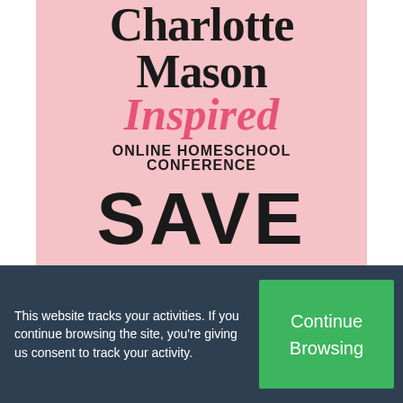[Figure (infographic): Charlotte Mason Inspired Online Homeschool Conference promotional banner on a pink background showing title text and SAVE text]
This website tracks your activities. If you continue browsing the site, you're giving us consent to track your activity.
Continue Browsing